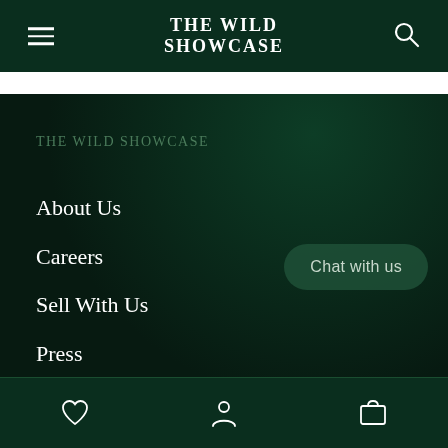THE WILD SHOWCASE
THE WILD SHOWCASE
About Us
Careers
Sell With Us
Press
Privacy Policy
Customer Reviews
Chat with us